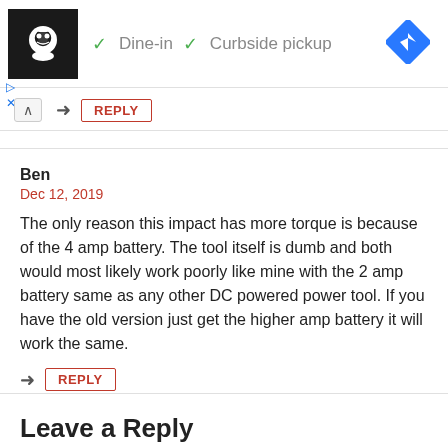[Figure (screenshot): Advertisement banner showing a chef logo, checkmarks next to 'Dine-in' and 'Curbside pickup' text, and a blue navigation diamond icon. Below are play and close controls.]
↑ → REPLY
Ben
Dec 12, 2019
The only reason this impact has more torque is because of the 4 amp battery. The tool itself is dumb and both would most likely work poorly like mine with the 2 amp battery same as any other DC powered power tool. If you have the old version just get the higher amp battery it will work the same.
→ REPLY
Leave a Reply